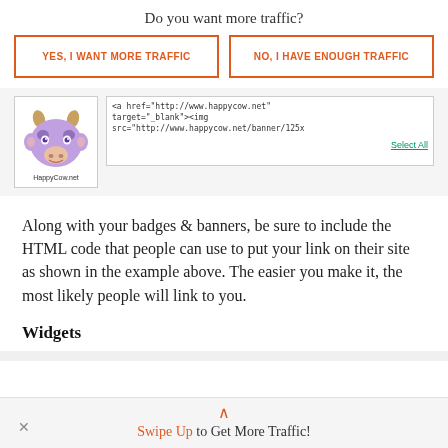Do you want more traffic?
YES, I WANT MORE TRAFFIC
NO, I HAVE ENOUGH TRAFFIC
[Figure (screenshot): HappyCow.net badge showing a purple cartoon cow head logo and the text HappyCow.net, alongside an HTML code snippet box with a Select All link]
Along with your badges & banners, be sure to include the HTML code that people can use to put your link on their site as shown in the example above. The easier you make it, the most likely people will link to you.
Widgets
Swipe Up to Get More Traffic!